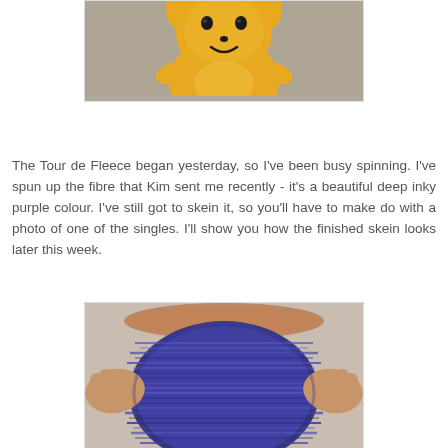[Figure (photo): Photo of a yellow stuffed animal toy (plush character with black eyes and smile) against a grey background, cropped to show mainly the torso/face area.]
The Tour de Fleece began yesterday, so I've been busy spinning. I've spun up the fibre that Kim sent me recently - it's a beautiful deep inky purple colour. I've still got to skein it, so you'll have to make do with a photo of one of the singles. I'll show you how the finished skein looks later this week.
[Figure (photo): Close-up photo of deep inky purple/blue handspun yarn singles wound around what appears to be a hand or small object, showing the texture and colour of the spun fibre.]